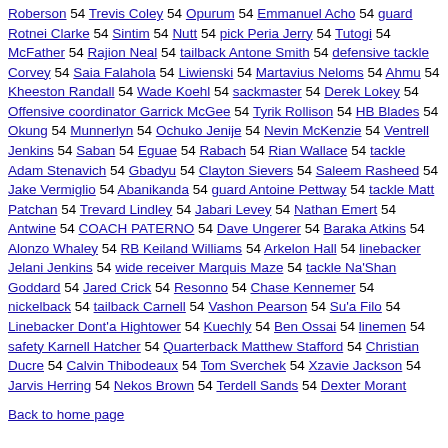Roberson 54 Trevis Coley 54 Opurum 54 Emmanuel Acho 54 guard Rotnei Clarke 54 Sintim 54 Nutt 54 pick Peria Jerry 54 Tutogi 54 McFather 54 Rajion Neal 54 tailback Antone Smith 54 defensive tackle Corvey 54 Saia Falahola 54 Liwienski 54 Martavius Neloms 54 Ahmu 54 Kheeston Randall 54 Wade Koehl 54 sackmaster 54 Derek Lokey 54 Offensive coordinator Garrick McGee 54 Tyrik Rollison 54 HB Blades 54 Okung 54 Munnerlyn 54 Ochuko Jenije 54 Nevin McKenzie 54 Ventrell Jenkins 54 Saban 54 Eguae 54 Rabach 54 Rian Wallace 54 tackle Adam Stenavich 54 Gbadyu 54 Clayton Sievers 54 Saleem Rasheed 54 Jake Vermiglio 54 Abanikanda 54 guard Antoine Pettway 54 tackle Matt Patchan 54 Trevard Lindley 54 Jabari Levey 54 Nathan Emert 54 Antwine 54 COACH PATERNO 54 Dave Ungerer 54 Baraka Atkins 54 Alonzo Whaley 54 RB Keiland Williams 54 Arkelon Hall 54 linebacker Jelani Jenkins 54 wide receiver Marquis Maze 54 tackle Na'Shan Goddard 54 Jared Crick 54 Resonno 54 Chase Kennemer 54 nickelback 54 tailback Carnell 54 Vashon Pearson 54 Su'a Filo 54 Linebacker Dont'a Hightower 54 Kuechly 54 Ben Ossai 54 linemen 54 safety Karnell Hatcher 54 Quarterback Matthew Stafford 54 Christian Ducre 54 Calvin Thibodeaux 54 Tom Sverchek 54 Xzavie Jackson 54 Jarvis Herring 54 Nekos Brown 54 Terdell Sands 54 Dexter Morant
Back to home page